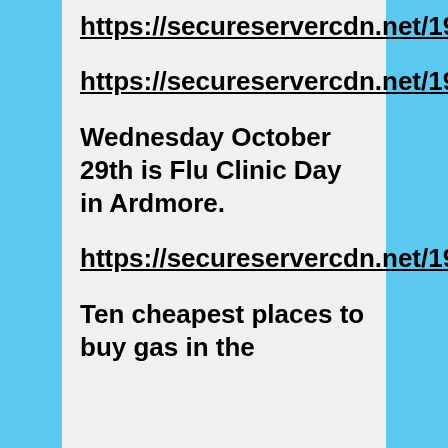https://secureservercdn.net/198.71.190.156/knn.c7e.myftpupload.com/ttphotos8a/CourthouseFlag102208.jpg
https://secureservercdn.net/198.71.190.156/knn.c7e.myftpupload.com/ttphotos8a/GalaxySign.jpg
Wednesday October 29th is Flu Clinic Day in Ardmore.
https://secureservercdn.net/198.71.190.156/knn.c7e.myftpupload.com/ttphotos8a/FluClinic102908.jpg
Ten cheapest places to buy gas in the